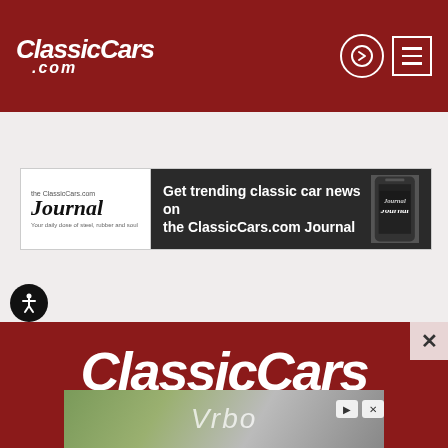[Figure (screenshot): ClassicCars.com website header with dark red background showing the ClassicCars.com logo on the left and navigation icons (login arrow circle and hamburger menu) on the right]
[Figure (screenshot): Banner advertisement for the ClassicCars.com Journal showing the Journal logo on the left and text 'Get trending classic car news on the ClassicCars.com Journal' on a dark background with a phone image on the right]
[Figure (screenshot): ClassicCars.com footer section on dark red background with large white ClassicCars.com logo, accessibility icon on bottom left, and close X button on right]
[Figure (screenshot): Bottom advertisement banner showing Vrbo logo text over a nature/outdoor background with small ad control icons]